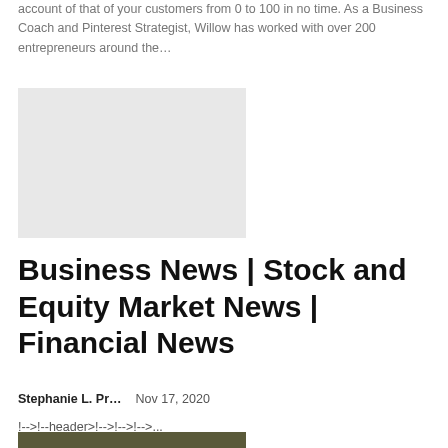account of that of your customers from 0 to 100 in no time. As a Business Coach and Pinterest Strategist, Willow has worked with over 200 entrepreneurs around the…
[Figure (photo): Light gray image placeholder rectangle]
Business News | Stock and Equity Market News | Financial News
Stephanie L. Pr…    Nov 17, 2020
!-->!--header>!-->!-->!-->...
[Figure (photo): Partial photo visible at bottom of page]